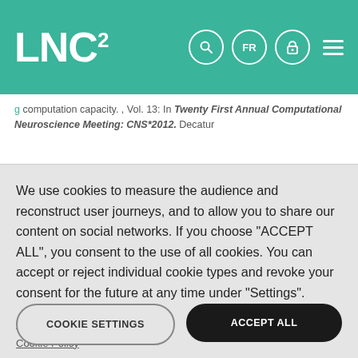LNC²
computation capacity. , Vol. 13: In Twenty First Annual Computational Neuroscience Meeting: CNS*2012. Decatur
We use cookies to measure the audience and reconstruct user journeys, and to allow you to share our content on social networks. If you choose "ACCEPT ALL", you consent to the use of all cookies. You can accept or reject individual cookie types and revoke your consent for the future at any time under "Settings".
Privacy policy
Cookie Policy